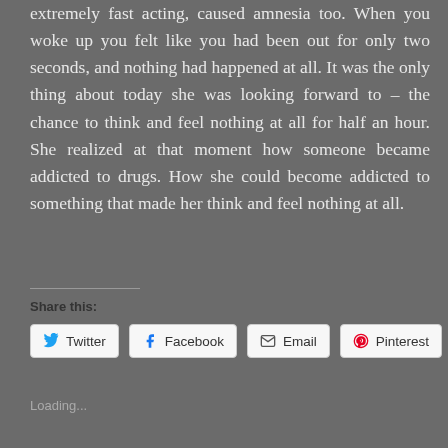extremely fast acting, caused amnesia too. When you woke up you felt like you had been out for only two seconds, and nothing had happened at all. It was the only thing about today she was looking forward to – the chance to think and feel nothing at all for half an hour. She realized at that moment how someone became addicted to drugs. How she could become addicted to something that made her think and feel nothing at all.
Share this:
Twitter Facebook Email Pinterest
Loading...